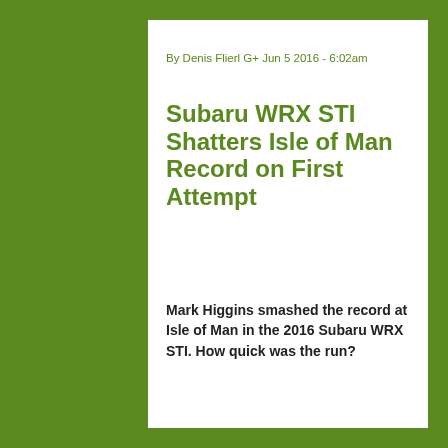By Denis Flierl G+ Jun 5 2016 - 6:02am
Subaru WRX STI Shatters Isle of Man Record on First Attempt
Mark Higgins smashed the record at Isle of Man in the 2016 Subaru WRX STI. How quick was the run?
Read more >